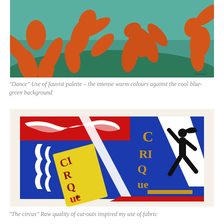[Figure (illustration): Matisse's 'Dance' painting showing orange figures dancing on a blue-green background — fauvist palette with intense warm colours against cool background]
“Dance” Use of fauvist palette – the intense warm colours against the cool blue-green background
[Figure (illustration): Matisse's 'The Circus' (Le Cirque) cut-out artwork showing bold blue background with yellow, red, white and black cut-out shapes and text spelling CIRQUE]
“The circus” Raw quality of cut-outs inspired my use of fabric